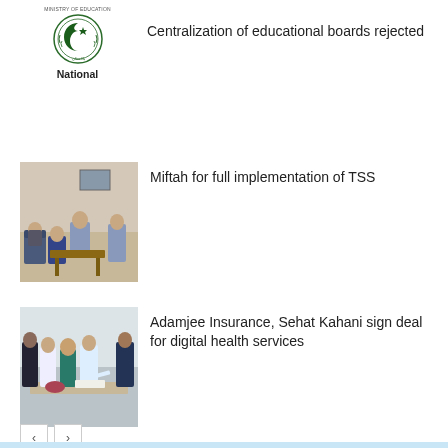[Figure (logo): Pakistan government emblem/seal icon with 'National' label below and small text header above]
Centralization of educational boards rejected
[Figure (photo): Meeting room photo with people seated, appears to be an official government meeting]
Miftah for full implementation of TSS
[Figure (photo): Group photo of people seated at a table, appears to be a signing ceremony for Adamjee Insurance and Sehat Kahani deal]
Adamjee Insurance, Sehat Kahani sign deal for digital health services